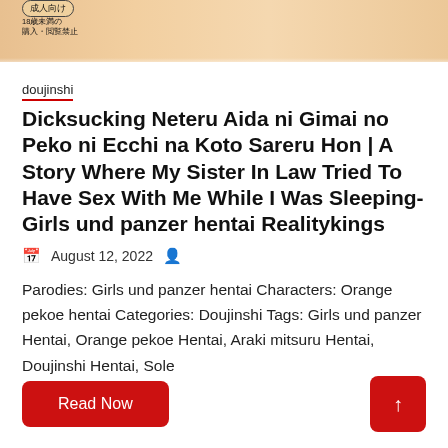[Figure (illustration): Top portion of a manga/doujinshi cover image showing anime-style art with skin tones and a small label box in Japanese with a border]
doujinshi
Dicksucking Neteru Aida ni Gimai no Peko ni Ecchi na Koto Sareru Hon | A Story Where My Sister In Law Tried To Have Sex With Me While I Was Sleeping- Girls und panzer hentai Realitykings
August 12, 2022
Parodies: Girls und panzer hentai Characters: Orange pekoe hentai Categories: Doujinshi Tags: Girls und panzer Hentai, Orange pekoe Hentai, Araki mitsuru Hentai, Doujinshi Hentai, Sole
Read Now
↑